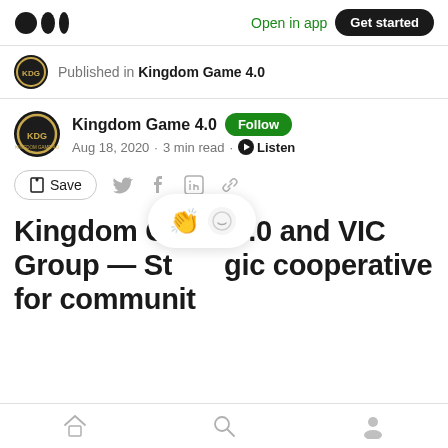Medium logo | Open in app | Get started
Published in Kingdom Game 4.0
Kingdom Game 4.0 · Follow
Aug 18, 2020 · 3 min read · Listen
Save (share icons)
Kingdom Game 4.0 and VIC Group — Strategic cooperative for community
Home | Search | Profile